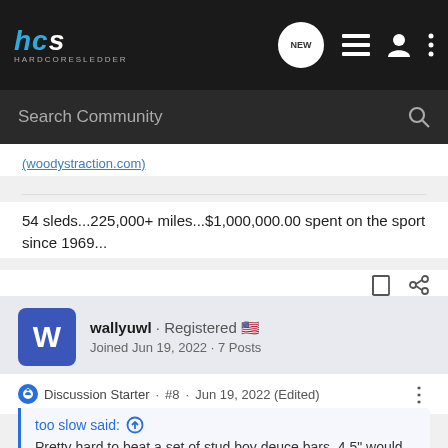hcs HARDCORESLEDDER — navigation bar with Search Community
(woodystraction.com)
54 sleds...225,000+ miles...$1,000,000.00 spent on the sport since 1969...
wallyuwl · Registered 🇺🇸
Joined Jun 19, 2022 · 7 Posts
Discussion Starter · #8 · Jun 19, 2022 (Edited)
too slow said: ↑
Pretty hard to beat a set of stud boy deuce bars. 4.5" would probably